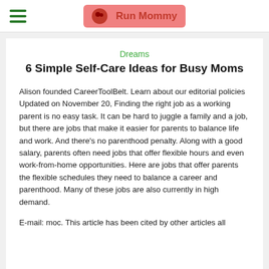Run Mommy
Dreams
6 Simple Self-Care Ideas for Busy Moms
Alison founded CareerToolBelt. Learn about our editorial policies Updated on November 20, Finding the right job as a working parent is no easy task. It can be hard to juggle a family and a job, but there are jobs that make it easier for parents to balance life and work. And there's no parenthood penalty. Along with a good salary, parents often need jobs that offer flexible hours and even work-from-home opportunities. Here are jobs that offer parents the flexible schedules they need to balance a career and parenthood. Many of these jobs are also currently in high demand.
E-mail: moc. This article has been cited by other articles all